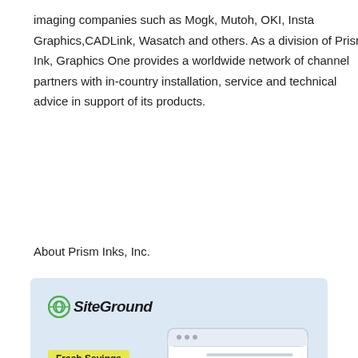imaging companies such as Mogk, Mutoh, OKI, Insta Graphics,CADLink, Wasatch and others. As a division of Prism Ink, Graphics One provides a worldwide network of channel partners with in-country installation, service and technical advice in support of its products.
About Prism Inks, Inc.
[Figure (illustration): SiteGround advertisement banner with light blue background. Shows SiteGround logo at top left, a yellow badge reading 'Fresh Savings', bold text reading '80% Off Hosting & Free Transfer', a blue 'START NOW' button, and an illustration of lemons with leaves and a browser window mockup.]